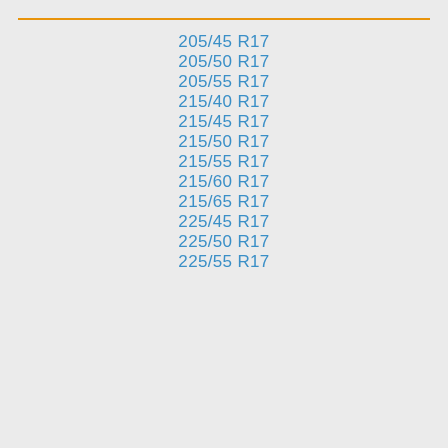205/45 R17
205/50 R17
205/55 R17
215/40 R17
215/45 R17
215/50 R17
215/55 R17
215/60 R17
215/65 R17
225/45 R17
225/50 R17
225/55 R17